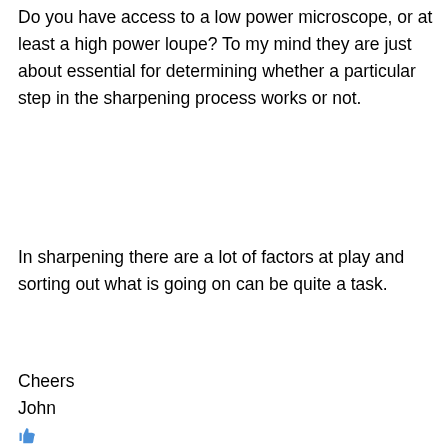Do you have access to a low power microscope, or at least a high power loupe? To my mind they are just about essential for determining whether a particular step in the sharpening process works or not.
In sharpening there are a lot of factors at play and sorting out what is going on can be quite a task.
Cheers
John